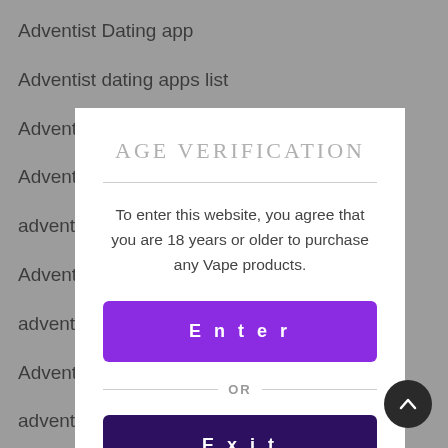Adventist Dating app
Adventist dating apps list
Adventist Dating Le site de visite
Adventist
adventist
Adventist
adventist
Adventist
adventist
Adventist
adventist
adventist
adventist
[Figure (screenshot): Age verification modal dialog with title 'AGE VERIFICATION', body text 'To enter this website, you agree that you are 18 years or older to purchase any Vape products.', a purple Enter button, an OR divider, and a dark purple Exit button partially visible at bottom.]